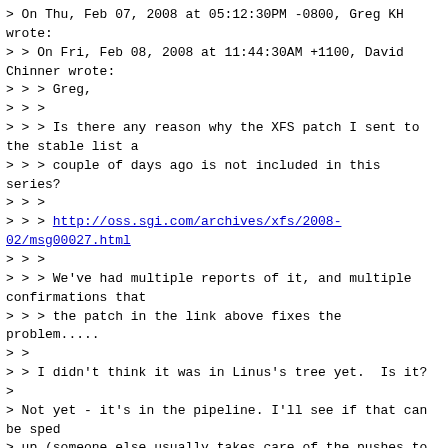> On Thu, Feb 07, 2008 at 05:12:30PM -0800, Greg KH wrote:
> > On Fri, Feb 08, 2008 at 11:44:30AM +1100, David Chinner wrote:
> > > Greg,
> > >
> > > Is there any reason why the XFS patch I sent to the stable list a
> > > couple of days ago is not included in this series?
> > >
> > > http://oss.sgi.com/archives/xfs/2008-02/msg00027.html
> > >
> > > We've had multiple reports of it, and multiple confirmations that
> > > the patch in the link above fixes the problem.....
> >
> > I didn't think it was in Linus's tree yet.  Is it?
>
> Not yet - it's in the pipeline. I'll see if that can be sped
> up (someone else usually takes care of the pushes to Linus).

Then we did our job right and didn't take it :)

Please resend it after it gets into Linus's tree, not before, I'm really